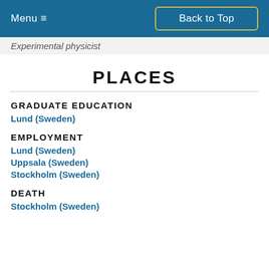Menu ≡   Back to Top
Experimental physicist
PLACES
GRADUATE EDUCATION
Lund (Sweden)
EMPLOYMENT
Lund (Sweden)
Uppsala (Sweden)
Stockholm (Sweden)
DEATH
Stockholm (Sweden)